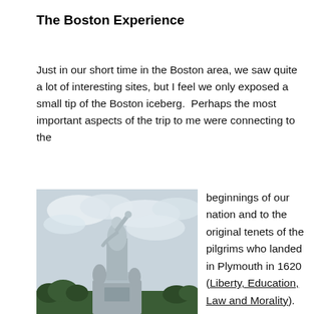The Boston Experience
Just in our short time in the Boston area, we saw quite a lot of interesting sites, but I feel we only exposed a small tip of the Boston iceberg.  Perhaps the most important aspects of the trip to me were connecting to the
[Figure (photo): Photograph of a large stone statue (likely the National Monument to the Forefathers) against a cloudy sky, with trees visible in the background.]
beginnings of our nation and to the original tenets of the pilgrims who landed in Plymouth in 1620 (Liberty, Education, Law and Morality).